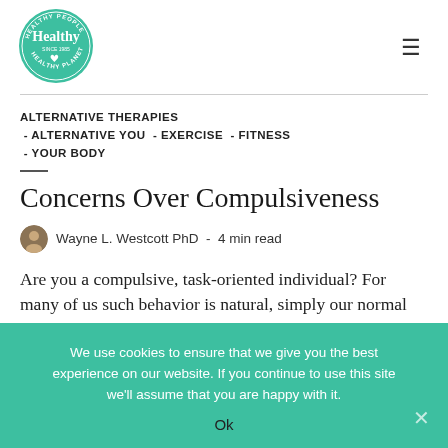[Figure (logo): Healthy brand logo: circular green badge with 'Healthy People / Healthy Planet' text around border and 'Healthy since 1985' in center with heart icon]
ALTERNATIVE THERAPIES - ALTERNATIVE YOU - EXERCISE - FITNESS - YOUR BODY
Concerns Over Compulsiveness
Wayne L. Westcott PhD  -  4 min read
Are you a compulsive, task-oriented individual? For many of us such behavior is natural, simply our normal way of life. I have
We use cookies to ensure that we give you the best experience on our website. If you continue to use this site we'll assume that you are happy with it.